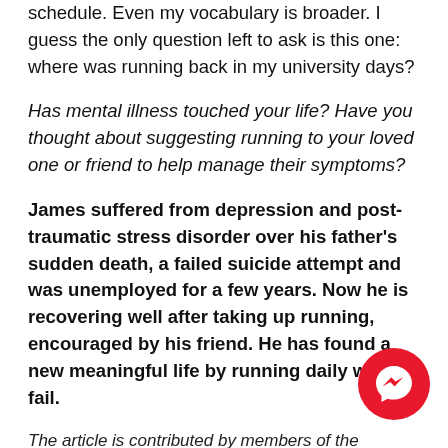schedule. Even my vocabulary is broader. I guess the only question left to ask is this one: where was running back in my university days?
Has mental illness touched your life? Have you thought about suggesting running to your loved one or friend to help manage their symptoms?
James suffered from depression and post-traumatic stress disorder over his father's sudden death, a failed suicide attempt and was unemployed for a few years. Now he is recovering well after taking up running, encouraged by his friend. He has found a new meaningful life by running daily without fail.
The article is contributed by members of the community. The le...
[Figure (logo): Facebook Messenger circular button icon, red background with white lightning bolt messenger logo]